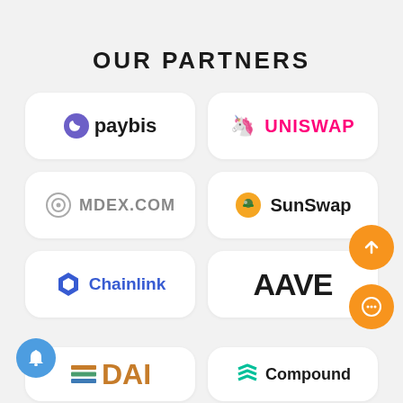OUR PARTNERS
[Figure (logo): paybis logo - purple crescent icon with bold text 'paybis']
[Figure (logo): Uniswap logo - pink unicorn icon with text 'UNISWAP' in pink]
[Figure (logo): MDEX.COM logo - grey circular icon with grey text 'MDEX.COM']
[Figure (logo): SunSwap logo - sun icon with text 'SunSwap']
[Figure (logo): Chainlink logo - blue hexagon icon with text 'Chainlink' in blue]
[Figure (logo): AAVE logo - black geometric text 'AAVE']
[Figure (logo): DAI logo - horizontal bars icon with bold text 'DAI']
[Figure (logo): Compound logo - green stacked chevron icon with text 'Compound']